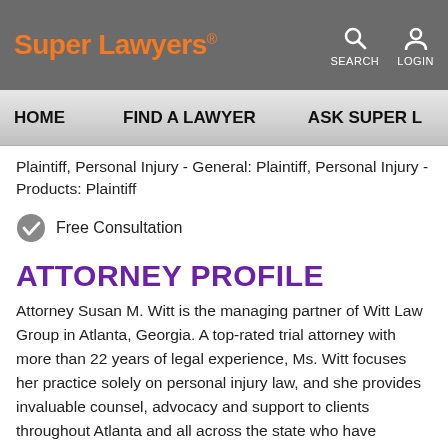Super Lawyers
HOME   FIND A LAWYER   ASK SUPER L
Plaintiff, Personal Injury - General: Plaintiff, Personal Injury - Products: Plaintiff
Free Consultation
ATTORNEY PROFILE
Attorney Susan M. Witt is the managing partner of Witt Law Group in Atlanta, Georgia. A top-rated trial attorney with more than 22 years of legal experience, Ms. Witt focuses her practice solely on personal injury law, and she provides invaluable counsel, advocacy and support to clients throughout Atlanta and all across the state who have suffered injuries or lost loved ones due to the